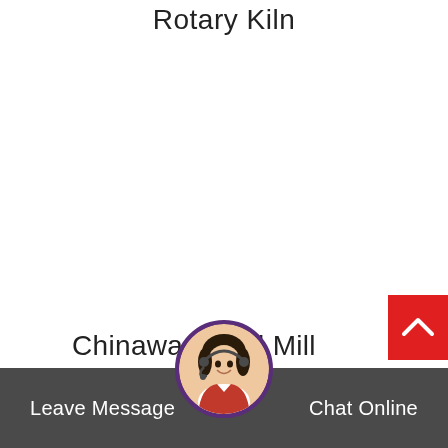Rotary Kiln
Chinaware Ball Mill
[Figure (illustration): Customer service avatar - woman with headset, displayed in circular frame with purple border]
Leave Message  |  Chat Online